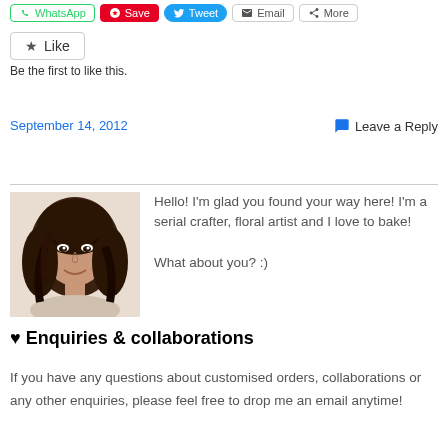[Figure (other): Social sharing buttons: WhatsApp, Save, Tweet, Email, More]
[Figure (other): Like button widget]
Be the first to like this.
September 14, 2012
Leave a Reply
[Figure (photo): Profile photo of a young Asian woman with long dark hair, smiling]
Hello! I'm glad you found your way here! I'm a serial crafter, floral artist and I love to bake!

What about you? :)
♥ Enquiries & collaborations
If you have any questions about customised orders, collaborations or any other enquiries, please feel free to drop me an email anytime!